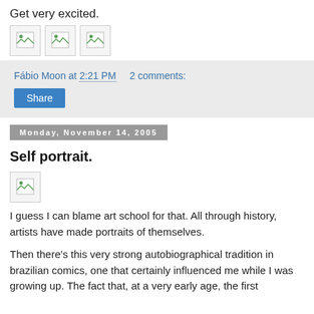Get very excited.
[Figure (illustration): Three broken image icons in a row]
Fábio Moon at 2:21 PM   2 comments:
Share
Monday, November 14, 2005
Self portrait.
[Figure (illustration): One broken image icon]
I guess I can blame art school for that. All through history, artists have made portraits of themselves.
Then there's this very strong autobiographical tradition in brazilian comics, one that certainly influenced me while I was growing up. The fact that, at a very early age, the first